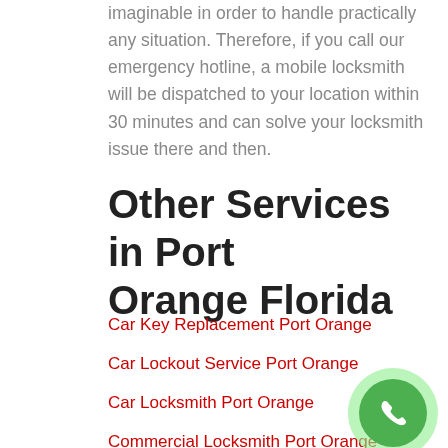imaginable in order to handle practically any situation. Therefore, if you call our emergency hotline, a mobile locksmith will be dispatched to your location within 30 minutes and can solve your locksmith issue there and then.
Other Services in Port Orange Florida
Car Key Replacement Port Orange
Car Lockout Service Port Orange
Car Locksmith Port Orange
Commercial Locksmith Port Orange
[Figure (illustration): Green phone call button with white phone icon, circular shape with lighter green outer ring]